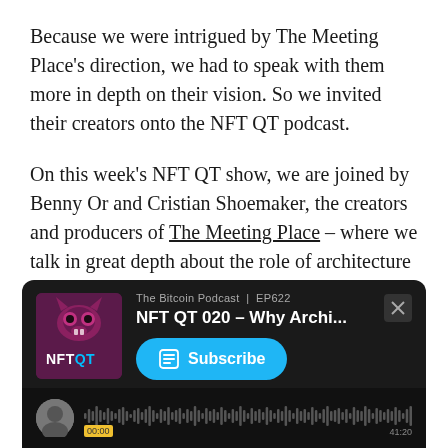Because we were intrigued by The Meeting Place's direction, we had to speak with them more in depth on their vision. So we invited their creators onto the NFT QT podcast.
On this week's NFT QT show, we are joined by Benny Or and Cristian Shoemaker, the creators and producers of The Meeting Place – where we talk in great depth about the role of architecture and well-designed spaces in the metaverse.
[Figure (screenshot): Podcast player embed showing 'The Bitcoin Podcast | EP622 - NFT QT 020 – Why Archi...' with a Subscribe button and waveform player at bottom]